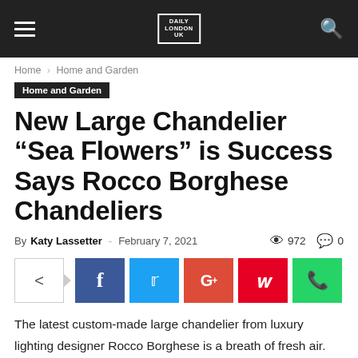Daily London UK
Home › Home and Garden
Home and Garden
New Large Chandelier “Sea Flowers” is Success Says Rocco Borghese Chandeliers
By Katy Lassetter - February 7, 2021   972   0
[Figure (infographic): Social share buttons: share icon with arrow, Facebook (f), Twitter (bird), Google+ (G+), Pinterest (P), WhatsApp (phone)]
The latest custom-made large chandelier from luxury lighting designer Rocco Borghese is a breath of fresh air. Sea Flowers not only offers a shimmer akin to summer sunlight